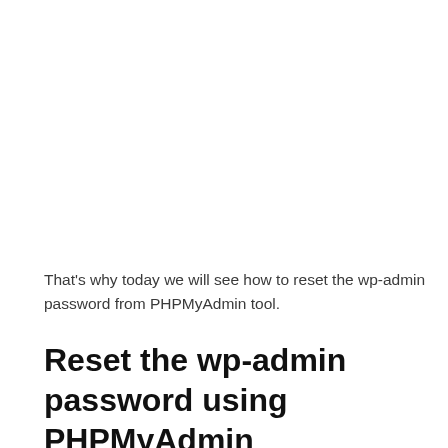That's why today we will see how to reset the wp-admin password from PHPMyAdmin tool.
Reset the wp-admin password using PHPMyAdmin